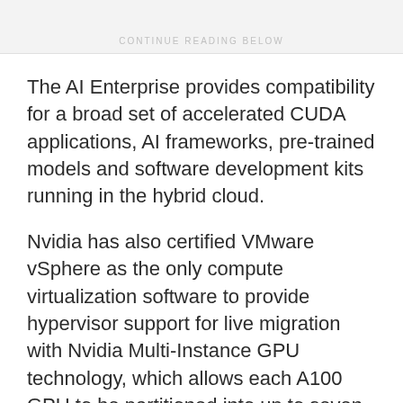CONTINUE READING BELOW
The AI Enterprise provides compatibility for a broad set of accelerated CUDA applications, AI frameworks, pre-trained models and software development kits running in the hybrid cloud.
Nvidia has also certified VMware vSphere as the only compute virtualization software to provide hypervisor support for live migration with Nvidia Multi-Instance GPU technology, which allows each A100 GPU to be partitioned into up to seven instances at the hardware level to maximize efficiency for workloads of all